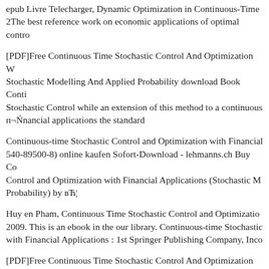epub Livre Telecharger, Dynamic Optimization in Continuous-Time... 2The best reference work on economic applications of optimal contro...
[PDF]Free Continuous Time Stochastic Control And Optimization W... Stochastic Modelling And Applied Probability download Book Conti... Stochastic Control while an extension of this method to a continuous... п¬Ńnancial applications the standard
Continuous-time Stochastic Control and Optimization with Financial... 540-89500-8) online kaufen Sofort-Download - lehmanns.ch Buy Co... Control and Optimization with Financial Applications (Stochastic M... Probability) by вЋ¦
Huy en Pham, Continuous Time Stochastic Control and Optimization... 2009. This is an ebook in the our library. Continuous-time Stochastic... with Financial Applications : 1st Springer Publishing Company, Inco...
[PDF]Free Continuous Time Stochastic Control And Optimization W... Stochastic Modelling And Applied Probability download Book Stock... Asset Allocation Continuous-time stochastic control and optimizatio...